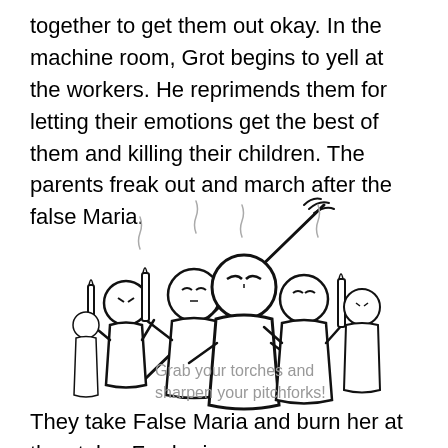together to get them out okay. In the machine room, Grot begins to yell at the workers. He reprimends them for letting their emotions get the best of them and killing their children. The parents freak out and march after the false Maria.
[Figure (illustration): A stick-figure illustration of an angry mob holding torches and pitchforks, marching together with angry expressions on their circular faces.]
Grab your torches and sharpen your pitchforks!
They take False Maria and burn her at the stake. Freder is